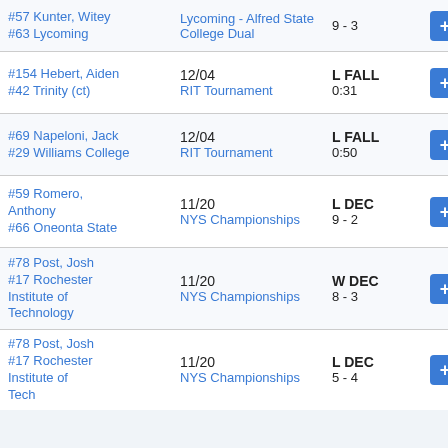| Wrestler / Opponent | Event / Date | Result | Action |
| --- | --- | --- | --- |
| #57 Kunter, Witey
#63 Lycoming | Lycoming - Alfred State College Dual | 9 - 3 | + |
| #154 Hebert, Aiden
#42 Trinity (ct) | 12/04
RIT Tournament | L FALL
0:31 | + |
| #69 Napeloni, Jack
#29 Williams College | 12/04
RIT Tournament | L FALL
0:50 | + |
| #59 Romero, Anthony
#66 Oneonta State | 11/20
NYS Championships | L DEC
9 - 2 | + |
| #78 Post, Josh
#17 Rochester Institute of Technology | 11/20
NYS Championships | W DEC
8 - 3 | + |
| #78 Post, Josh
#17 Rochester Institute of Technology | 11/20
NYS Championships | L DEC
5 - 4 | + |